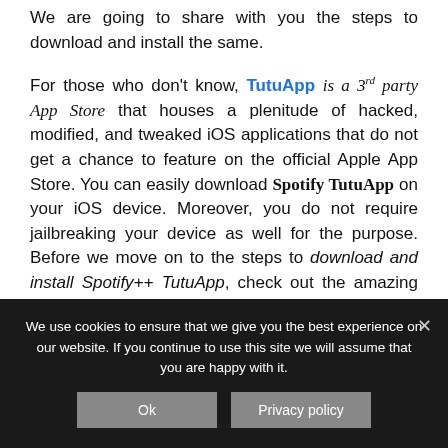We are going to share with you the steps to download and install the same.
For those who don't know, TutuApp is a 3rd party App Store that houses a plenitude of hacked, modified, and tweaked iOS applications that do not get a chance to feature on the official Apple App Store. You can easily download Spotify TutuApp on your iOS device. Moreover, you do not require jailbreaking your device as well for the purpose. Before we move on to the steps to download and install Spotify++ TutuApp, check out the amazing features of the same listed below.
We use cookies to ensure that we give you the best experience on our website. If you continue to use this site we will assume that you are happy with it.